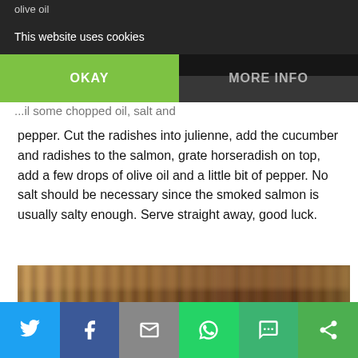olive oil
This website uses cookies
OKAY | MORE INFO
...half, dice the flesh into small ... some chopped oil, salt and pepper. Cut the radishes into julienne, add the cucumber and radishes to the salmon, grate horseradish on top, add a few drops of olive oil and a little bit of pepper. No salt should be necessary since the smoked salmon is usually salty enough. Serve straight away, good luck.
[Figure (photo): Blurred close-up photograph of what appears to be wooden slats or a fence-like structure with warm brown tones and a yellow accent at the bottom left.]
Share buttons: Twitter, Facebook, Email, WhatsApp, SMS, Other